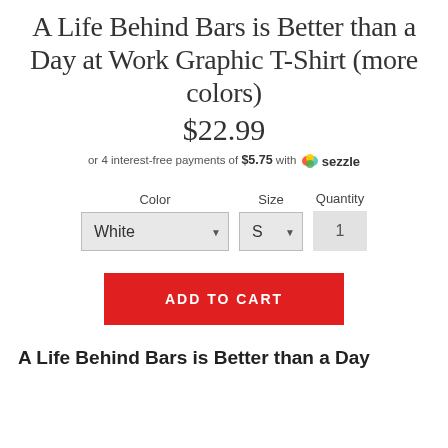A Life Behind Bars is Better than a Day at Work Graphic T-Shirt (more colors)
$22.99
or 4 interest-free payments of $5.75 with ◆ sezzle
Color: White  Size: S  Quantity: 1
ADD TO CART
A Life Behind Bars is Better than a Day